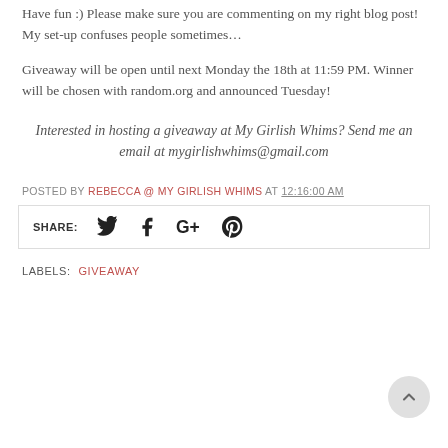Have fun :) Please make sure you are commenting on my right blog post! My set-up confuses people sometimes...
Giveaway will be open until next Monday the 18th at 11:59 PM. Winner will be chosen with random.org and announced Tuesday!
Interested in hosting a giveaway at My Girlish Whims? Send me an email at mygirlishwhims@gmail.com
POSTED BY REBECCA @ MY GIRLISH WHIMS AT 12:16:00 AM
SHARE:
LABELS: GIVEAWAY